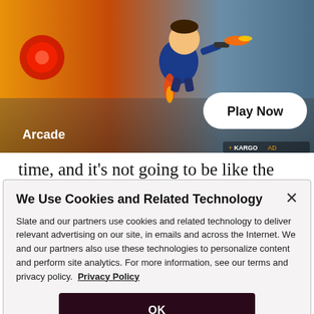[Figure (screenshot): Apple Arcade advertisement banner showing an animated character flying with a jetpack and a 'Play Now' button, with Kargo ad attribution]
time, and it's not going to be like the same quid pro quo that we're used to doing in South Asia and just getting things immediately. All those countries have interests there.
We Use Cookies and Related Technology
Slate and our partners use cookies and related technology to deliver relevant advertising on our site, in emails and across the Internet. We and our partners also use these technologies to personalize content and perform site analytics. For more information, see our terms and privacy policy. Privacy Policy
OK